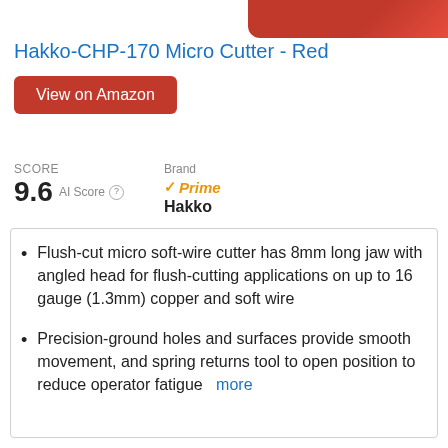[Figure (photo): Partial product image of Hakko CHP-170 Micro Cutter in red, cropped at top of page]
Hakko-CHP-170 Micro Cutter - Red
View on Amazon
SCORE
9.6 AI Score
Brand
Hakko
Prime
Flush-cut micro soft-wire cutter has 8mm long jaw with angled head for flush-cutting applications on up to 16 gauge (1.3mm) copper and soft wire
Precision-ground holes and surfaces provide smooth movement, and spring returns tool to open position to reduce operator fatigue  more